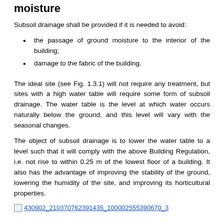moisture
Subsoil drainage shall be provided if it is needed to avoid:
the passage of ground moisture to the interior of the building;
damage to the fabric of the building.
The ideal site (see Fig. 1.3.1) will not require any treatment, but sites with a high water table will require some form of subsoil drainage. The water table is the level at which water occurs naturally below the ground, and this level will vary with the seasonal changes.
The object of subsoil drainage is to lower the water table to a level such that it will comply with the above Building Regulation, i.e. not rise to within 0.25 m of the lowest floor of a building. It also has the advantage of improving the stability of the ground, lowering the humidity of the site, and improving its horticultural properties.
[Figure (other): Thumbnail image link: 430902_210370762391435_100002555390670_3]